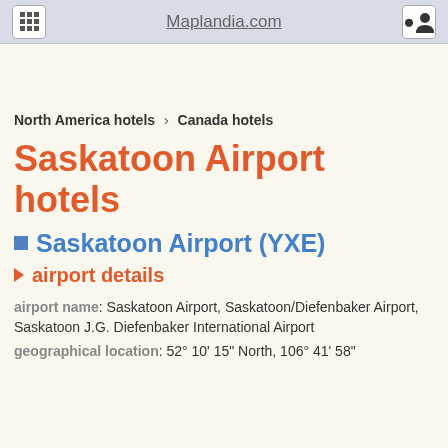Maplandia.com
North America hotels > Canada hotels
Saskatoon Airport hotels
Saskatoon Airport (YXE)
airport details
airport name: Saskatoon Airport, Saskatoon/Diefenbaker Airport, Saskatoon J.G. Diefenbaker International Airport
geographical location: 52° 10' 15" North, 106° 41' 58"